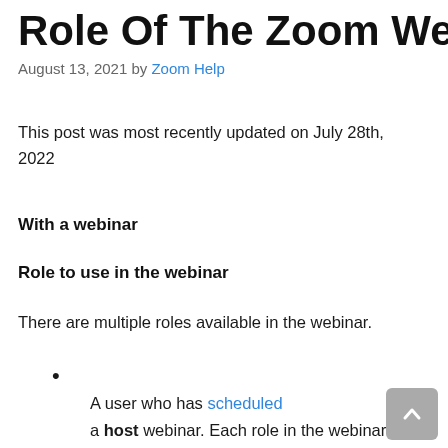Role Of The Zoom Webinar
August 13, 2021 by Zoom Help
This post was most recently updated on July 28th, 2022
With a webinar
Role to use in the webinar
There are multiple roles available in the webinar.
A user who has scheduled a host webinar. Each role in the webinar is specified by the host.